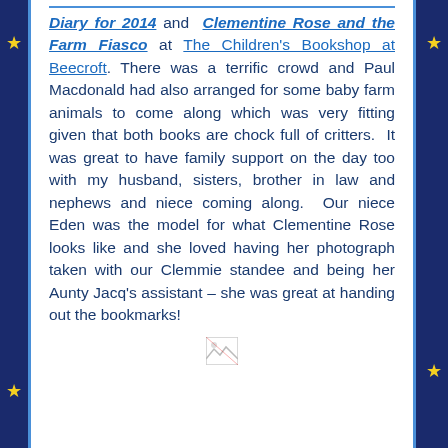Diary for 2014 and Clementine Rose and the Farm Fiasco at The Children's Bookshop at Beecroft. There was a terrific crowd and Paul Macdonald had also arranged for some baby farm animals to come along which was very fitting given that both books are chock full of critters.  It was great to have family support on the day too with my husband, sisters, brother in law and nephews and niece coming along.  Our niece Eden was the model for what Clementine Rose looks like and she loved having her photograph taken with our Clemmie standee and being her Aunty Jacq's assistant – she was great at handing out the bookmarks!
[Figure (other): A broken/missing image placeholder icon]